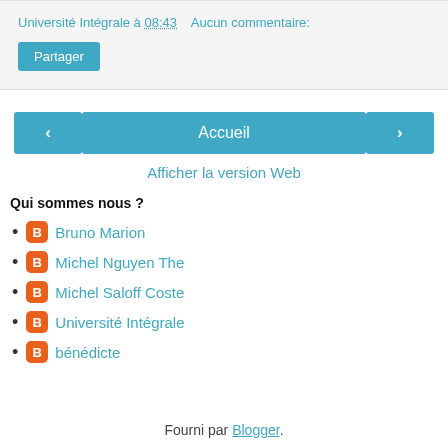Université Intégrale à 08:43   Aucun commentaire:
Partager
‹   Accueil   ›
Afficher la version Web
Qui sommes nous ?
Bruno Marion
Michel Nguyen The
Michel Saloff Coste
Université Intégrale
bénédicte
Fourni par Blogger.